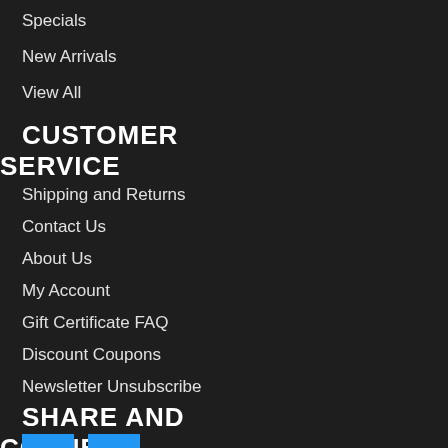Specials
New Arrivals
View All
CUSTOMER SERVICE
Shipping and Returns
Contact Us
About Us
My Account
Gift Certificate FAQ
Discount Coupons
Newsletter Unsubscribe
SHARE AND CONNECT
[Figure (other): Two blue social media icon buttons side by side]